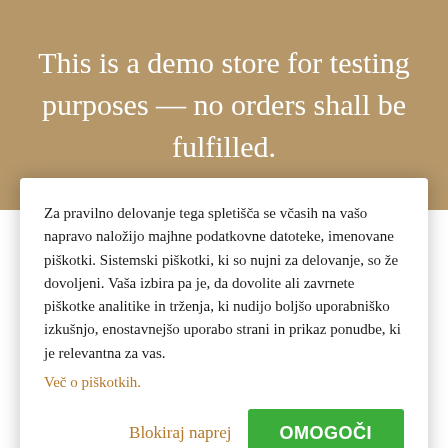This is a demo store for testing purposes — no orders shall be fulfilled.
Za pravilno delovanje tega spletišča se včasih na vašo napravo naložijo majhne podatkovne datoteke, imenovane piškotki. Sistemski piškotki, ki so nujni za delovanje, so že dovoljeni. Vaša izbira pa je, da dovolite ali zavrnete piškotke analitike in trženja, ki nudijo boljšo uporabniško izkušnjo, enostavnejšo uporabo strani in prikaz ponudbe, ki je relevantna za vas.
Več o piškotkih.
Blokiraj naprej
OMOGOČI